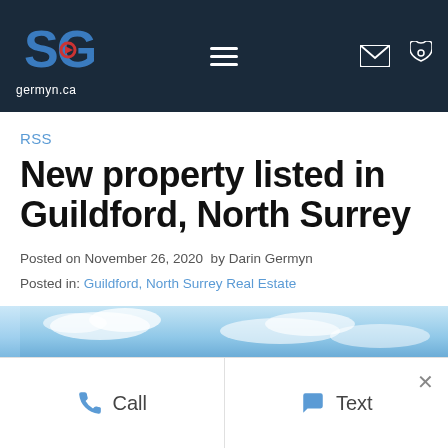[Figure (screenshot): Website header navigation bar with germyn.ca logo (SG icon in blue/dark), hamburger menu icon, email icon, and phone icon on dark navy background]
RSS
New property listed in Guildford, North Surrey
Posted on November 26, 2020  by Darin Germyn
Posted in: Guildford, North Surrey Real Estate
[Figure (other): Social sharing buttons: Twitter, Facebook, Pinterest on dark gray square backgrounds]
[Figure (photo): Partial view of a property photo showing blue sky and clouds]
Call
Text